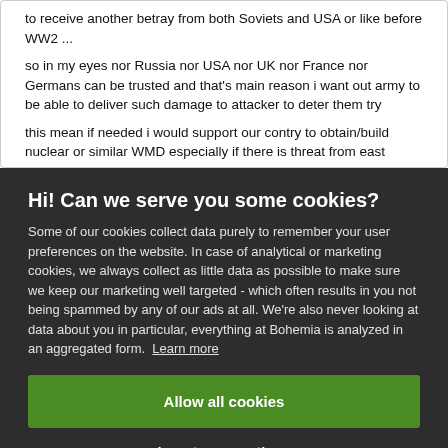to receive another betray from both Soviets and USA or like before WW2 ...
so in my eyes nor Russia nor USA nor UK nor France nor Germans can be trusted and that's main reason i want out army to be able to deliver such damage to attacker to deter them try
this mean if needed i would support our contry to obtain/build nuclear or similar WMD especially if there is threat from east
Hi! Can we serve you some cookies?
Some of our cookies collect data purely to remember your user preferences on the website. In case of analytical or marketing cookies, we always collect as little data as possible to make sure we keep our marketing well targeted - which often results in you not being spammed by any of our ads at all. We're also never looking at data about you in particular, everything at Bohemia is analyzed in an aggregated form. Learn more
Allow all cookies
I want more options